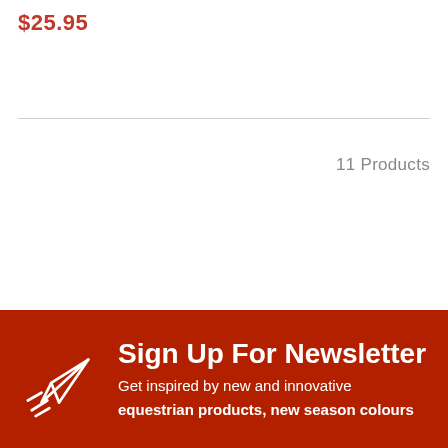$25.95
11 Products
Sign Up For Newsletter
Get inspired by new and innovative
equestrian products, new season colours